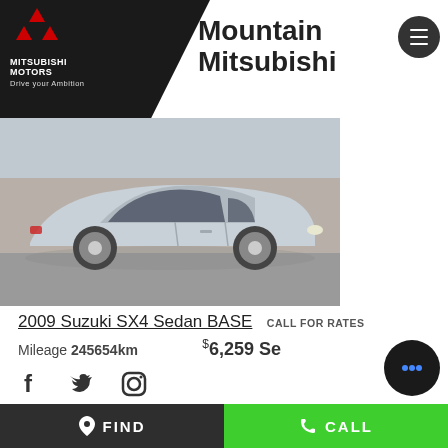Mountain Mitsubishi
[Figure (photo): Side profile photo of a silver 2009 Suzuki SX4 Sedan parked in a lot]
2009 Suzuki SX4 Sedan BASE
CALL FOR RATES
Mileage 245654km
$6,259 Se...
FIND   CALL